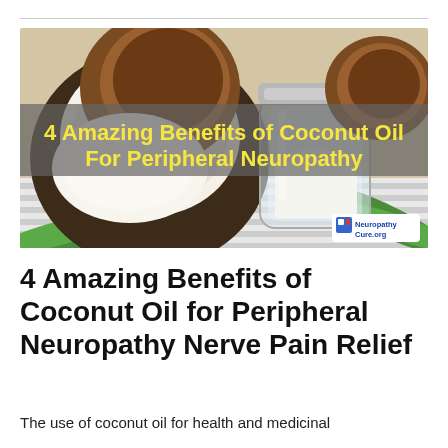[Figure (photo): Photo of a halved coconut and a glass jar of coconut oil on a striped background with green palm leaves. Overlay text reads '4 Amazing Benefits of Coconut Oil For Peripheral Neuropathy' in yellow bold font on a semi-transparent grey banner. NeuropathyCure.org watermark in bottom right.]
4 Amazing Benefits of Coconut Oil for Peripheral Neuropathy Nerve Pain Relief
The use of coconut oil for health and medicinal